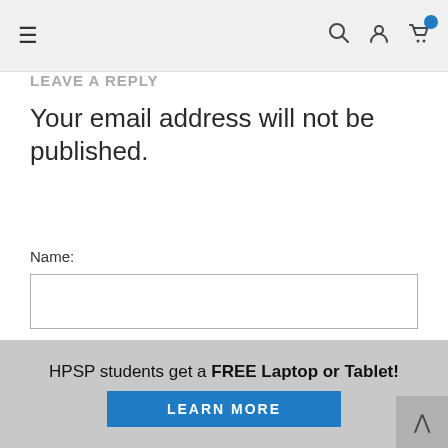Navigation bar with hamburger menu, search, user, and cart icons
LEAVE A REPLY
Your email address will not be published.
Name:
Email:
HPSP students get a FREE Laptop or Tablet! LEARN MORE